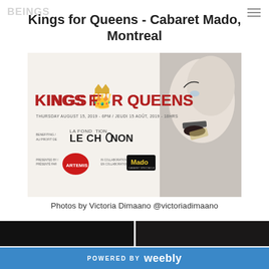Kings for Queens - Cabaret Mado, Montreal
[Figure (illustration): Kings for Queens event poster. Text reads: KINGS FOR QUEENS. Thursday August 15, 2019 - 6PM / Jeudi 15 Août, 2019 - 18HRS. Benefiting / Au Profit De: LA FONDATION LE CHAÎNON. Presented By / Présenté Par: ARTEMIS. In Collaboration With / En Collaboration Avec: Mado Cabaret Spectacle. Right side shows a stylized black and white photo of a face with dark lipstick and a mustache graphic.]
Photos by Victoria Dimaano @victoriadimaano
[Figure (photo): Two dark partial photos at the bottom of the page, likely from the event.]
POWERED BY weebly